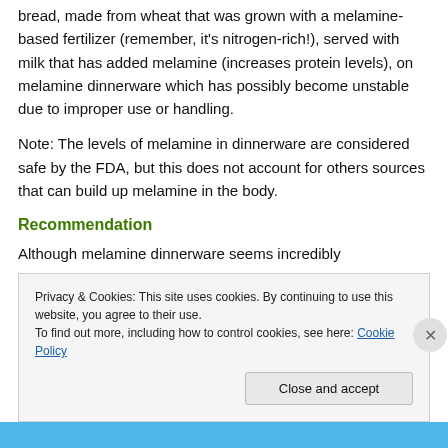bread, made from wheat that was grown with a melamine-based fertilizer (remember, it's nitrogen-rich!), served with milk that has added melamine (increases protein levels), on melamine dinnerware which has possibly become unstable due to improper use or handling.
Note: The levels of melamine in dinnerware are considered safe by the FDA, but this does not account for others sources that can build up melamine in the body.
Recommendation
Although melamine dinnerware seems incredibly
Privacy & Cookies: This site uses cookies. By continuing to use this website, you agree to their use.
To find out more, including how to control cookies, see here: Cookie Policy